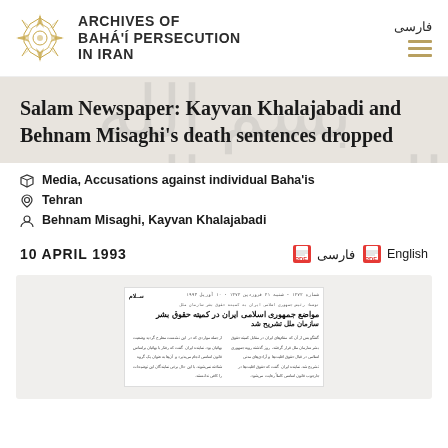[Figure (logo): Archives of Baha'i Persecution in Iran logo — geometric star/flower pattern in gold outline with organization name text]
Salam Newspaper: Kayvan Khalajabadi and Behnam Misaghi's death sentences dropped
Media, Accusations against individual Baha'is
Tehran
Behnam Misaghi, Kayvan Khalajabadi
10 APRIL 1993
فارسی   English
[Figure (photo): Scanned newspaper clipping in Persian/Farsi — Salam newspaper with Arabic script headlines about Islamic Republic of Iran's position in the human rights committee]